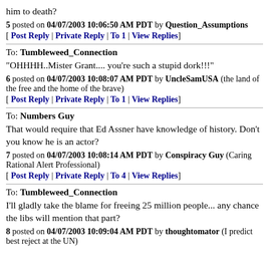him to death?
5 posted on 04/07/2003 10:06:50 AM PDT by Question_Assumptions
[ Post Reply | Private Reply | To 1 | View Replies]
To: Tumbleweed_Connection
"OHHHH..Mister Grant.... you're such a stupid dork!!!"
6 posted on 04/07/2003 10:08:07 AM PDT by UncleSamUSA (the land of the free and the home of the brave)
[ Post Reply | Private Reply | To 1 | View Replies]
To: Numbers Guy
That would require that Ed Assner have knowledge of history. Don't you know he is an actor?
7 posted on 04/07/2003 10:08:14 AM PDT by Conspiracy Guy (Caring Rational Alert Professional)
[ Post Reply | Private Reply | To 4 | View Replies]
To: Tumbleweed_Connection
I'll gladly take the blame for freeing 25 million people... any chance the libs will mention that part?
8 posted on 04/07/2003 10:09:04 AM PDT by thoughtomator (I predict best reject at the UN)